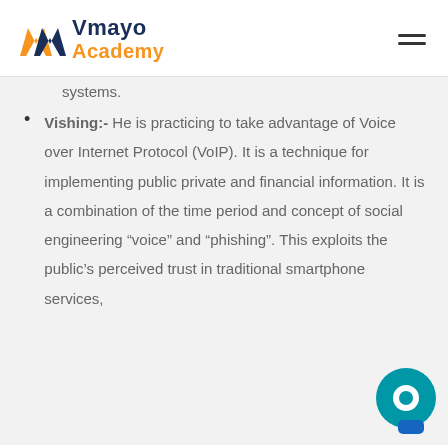Vmayo Academy
systems.
Vishing:- He is practicing to take advantage of Voice over Internet Protocol (VoIP). It is a technique for implementing public private and financial information. It is a combination of the time period and concept of social engineering “voice” and “phishing”. This exploits the public’s perceived trust in traditional smartphone services,